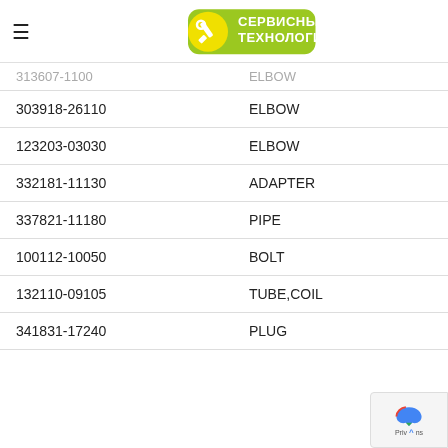Сервисные Технологии
| Part Number | Description |
| --- | --- |
| 313607-1100 (partial) | ELBOW (partial) |
| 303918-26110 | ELBOW |
| 123203-03030 | ELBOW |
| 332181-11130 | ADAPTER |
| 337821-11180 | PIPE |
| 100112-10050 | BOLT |
| 132110-09105 | TUBE,COIL |
| 341831-17240 | PLUG |